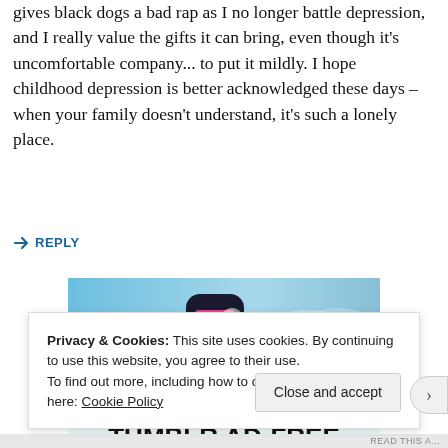gives black dogs a bad rap as I no longer battle depression, and I really value the gifts it can bring, even though it's uncomfortable company... to put it mildly. I hope childhood depression is better acknowledged these days – when your family doesn't understand, it's such a lonely place.
↪ REPLY
[Figure (screenshot): Tumblr AD-FREE advertisement banner with blue sky background, pink and dark Tumblr logo, yellow sparkles, and bold text 'TUMBLR AD-FREE']
Privacy & Cookies: This site uses cookies. By continuing to use this website, you agree to their use.
To find out more, including how to control cookies, see here: Cookie Policy
Close and accept